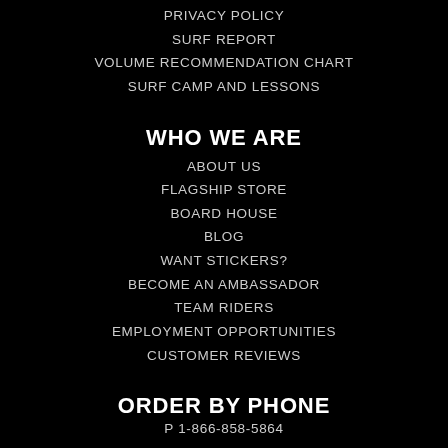PRIVACY POLICY
SURF REPORT
VOLUME RECOMMENDATION CHART
SURF CAMP AND LESSONS
WHO WE ARE
ABOUT US
FLAGSHIP STORE
BOARD HOUSE
BLOG
WANT STICKERS?
BECOME AN AMBASSADOR
TEAM RIDERS
EMPLOYMENT OPPORTUNITIES
CUSTOMER REVIEWS
ORDER BY PHONE
P 1-866-858-5864